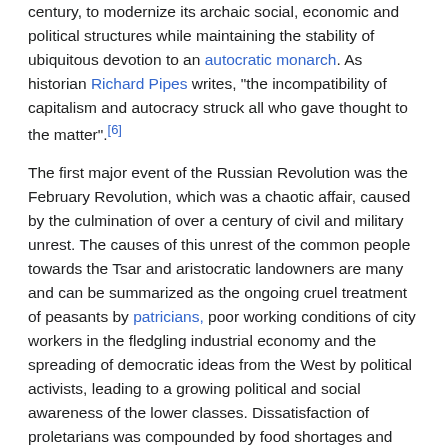century, to modernize its archaic social, economic and political structures while maintaining the stability of ubiquitous devotion to an autocratic monarch. As historian Richard Pipes writes, "the incompatibility of capitalism and autocracy struck all who gave thought to the matter".[6]
The first major event of the Russian Revolution was the February Revolution, which was a chaotic affair, caused by the culmination of over a century of civil and military unrest. The causes of this unrest of the common people towards the Tsar and aristocratic landowners are many and can be summarized as the ongoing cruel treatment of peasants by patricians, poor working conditions of city workers in the fledgling industrial economy and the spreading of democratic ideas from the West by political activists, leading to a growing political and social awareness of the lower classes. Dissatisfaction of proletarians was compounded by food shortages and military failures. In 1905, Russia experienced humiliating losses in its war with Japan, then Bloody Sunday and the Revolution of 1905, Tsarist troops fired upon a peaceful, unarmed crowd—further dividing Nicholas II from his people. Widespread strikes, riots and the famous mutiny on the Battleship Potemkin ensued.